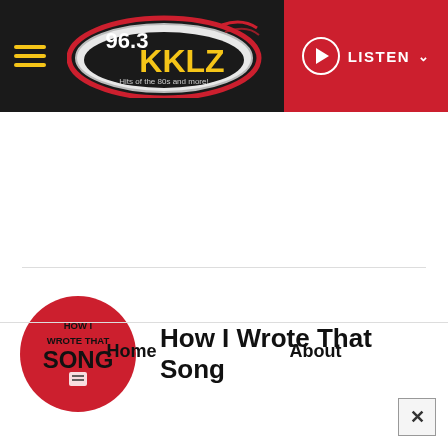96.3 KKLZ – Hits of the 80s and more! | LISTEN
[Figure (logo): 96.3 KKLZ radio station logo – red and silver oval with '96.3 KKLZ Hits of the 80s and more!' text in yellow and black]
[Figure (logo): How I Wrote That Song podcast logo – red circle with black and white text]
How I Wrote That Song
Home
About